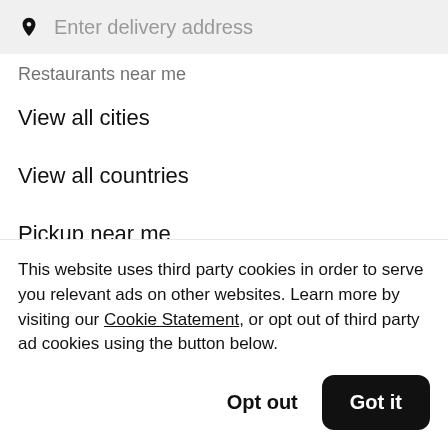[Figure (screenshot): Search bar with location pin icon and placeholder text 'Enter delivery address' on a light gray background]
Restaurants near me
View all cities
View all countries
Pickup near me
About Uber Eats
This website uses third party cookies in order to serve you relevant ads on other websites. Learn more by visiting our Cookie Statement, or opt out of third party ad cookies using the button below.